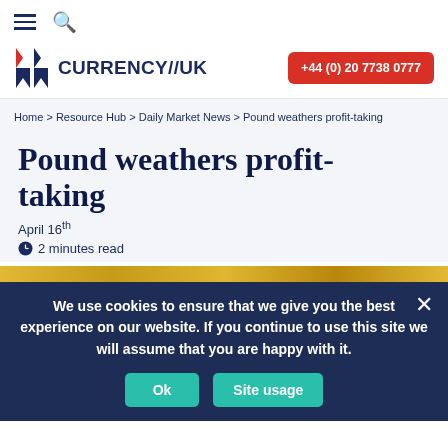≡ 🔍
[Figure (logo): Currency//UK logo with red and blue flag icon and dark blue text]
+44 (0) 20 7738 0777
Home > Resource Hub > Daily Market News > Pound weathers profit-taking
Pound weathers profit-taking
April 16th
🕐 2 minutes read
We use cookies to ensure that we give you the best experience on our website. If you continue to use this site we will assume that you are happy with it.
Ok  Site usage